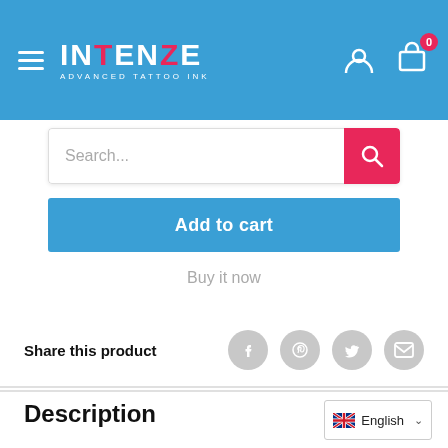INTENZE Advanced Tattoo Ink — navigation header with logo, hamburger menu, account icon, cart (0)
Search...
Add to cart
Buy it now
Share this product
Description